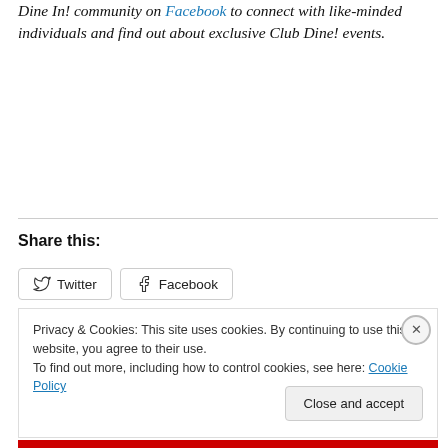Dine In! community on Facebook to connect with like-minded individuals and find out about exclusive Club Dine! events.
Share this:
[Figure (other): Share buttons for Twitter and Facebook]
Privacy & Cookies: This site uses cookies. By continuing to use this website, you agree to their use. To find out more, including how to control cookies, see here: Cookie Policy